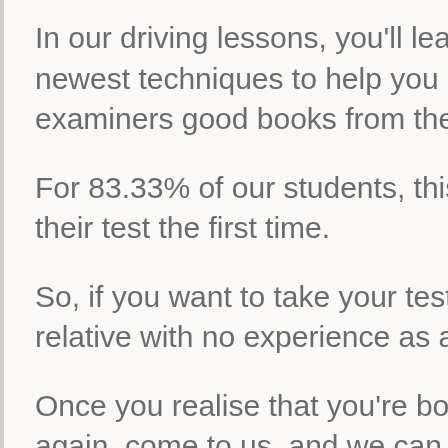In our driving lessons, you'll learn the latest newest techniques to help you pass and get in examiners good books from the moment...
For 83.33% of our students, this knowledge helped them pass their test the first time.
So, if you want to take your test more than once, or use a relative with no experience as a professional...
Once you realise that you're bored of waiting and want to try again, come to us, and we can help you...